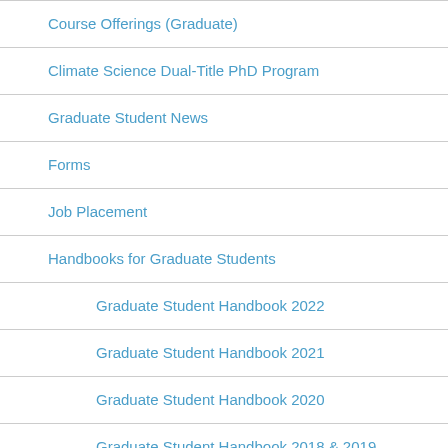Course Offerings (Graduate)
Climate Science Dual-Title PhD Program
Graduate Student News
Forms
Job Placement
Handbooks for Graduate Students
Graduate Student Handbook 2022
Graduate Student Handbook 2021
Graduate Student Handbook 2020
Graduate Student Handbook 2018 & 2019